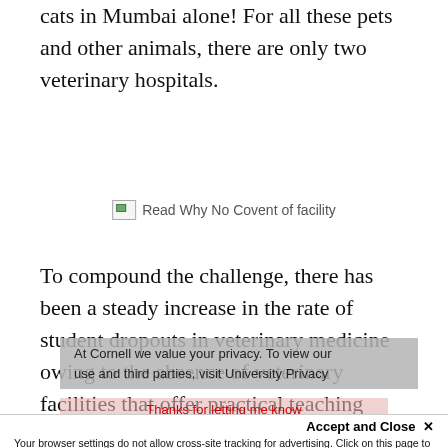cats in Mumbai alone! For all these pets and other animals, there are only two veterinary hospitals.
[Figure (photo): Broken image placeholder with caption text 'Read Why No Covent of facility']
To compound the challenge, there has been a steady increase in the rate of student dropouts in veterinary medicine owing to the absence of veterinary facilities that offer practical teaching experience and lack of future career opportunities. The Tata Animal
At Cornell we value your privacy. To view our use and third parties, visit University Privacy
Thanks for letting me know
Accept and Close ✕
Your browser settings do not allow cross-site tracking for advertising. Click on this page to allow AdRoll to use cross-site tracking to tailor ads to you. Learn more or opt out of this AdRoll tracking by clicking here. This message only appears once.